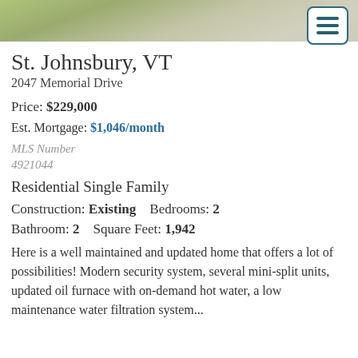[Figure (photo): Aerial or driveway photo of property, showing gravel/pavement and grass]
St. Johnsbury, VT
2047 Memorial Drive
Price: $229,000
Est. Mortgage: $1,046/month
MLS Number
4921044
Residential Single Family
Construction: Existing   Bedrooms: 2
Bathroom: 2   Square Feet: 1,942
Here is a well maintained and updated home that offers a lot of possibilities! Modern security system, several mini-split units, updated oil furnace with on-demand hot water, a low maintenance water filtration system...